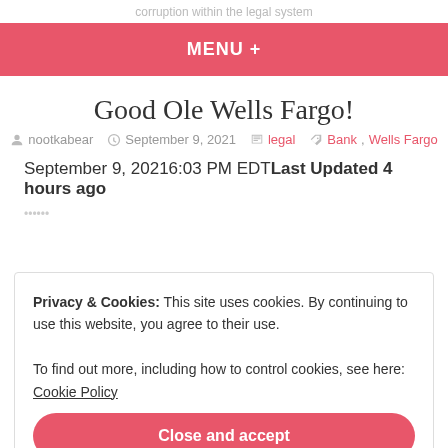corruption within the legal system
MENU +
Good Ole Wells Fargo!
nootkabear  September 9, 2021  legal  Bank, Wells Fargo
September 9, 20216:03 PM EDTLast Updated 4 hours ago
Privacy & Cookies: This site uses cookies. By continuing to use this website, you agree to their use.
To find out more, including how to control cookies, see here: Cookie Policy
Close and accept